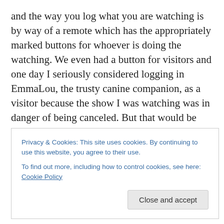and the way you log what you are watching is by way of a remote which has the appropriately marked buttons for whoever is doing the watching. We even had a button for visitors and one day I seriously considered logging in EmmaLou, the trusty canine companion, as a visitor because the show I was watching was in danger of being canceled. But that would be dishonest, and I could not do that. I thought about it, though. Even though we represented 60,000 households of viewers, Jericho was still canceled. Moonlight was still canceled. I'm not convinced my Nielsen vote helped at all there. But I
Privacy & Cookies: This site uses cookies. By continuing to use this website, you agree to their use.
To find out more, including how to control cookies, see here: Cookie Policy